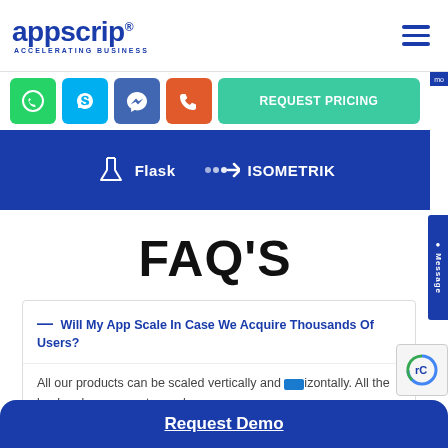[Figure (logo): Appscrip logo with text 'appscrip' in bold dark blue and tagline 'ACCELERATING BUSINESS' below]
[Figure (infographic): Row of contact icon buttons: WhatsApp (green), Skype (light blue), Messenger (blue), Phone (orange-red), plus a teal REQUEST PRICING button]
[Figure (infographic): Dark blue partners bar showing Flask and Isometrik logos in white]
FAQ'S
— Will My App Scale In Case We Acquire Thousands Of Users?
All our products can be scaled vertically and horizontally. All the backend components can be
Request Demo